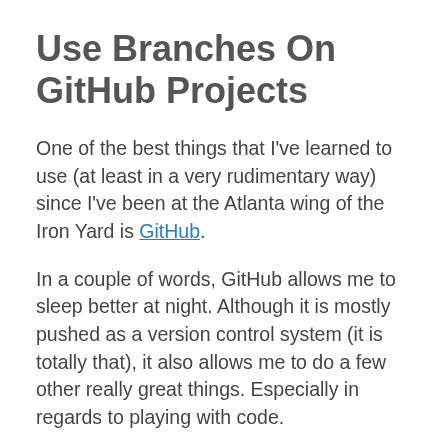Use Branches On GitHub Projects
One of the best things that I've learned to use (at least in a very rudimentary way) since I've been at the Atlanta wing of the Iron Yard is GitHub.
In a couple of words, GitHub allows me to sleep better at night. Although it is mostly pushed as a version control system (it is totally that), it also allows me to do a few other really great things. Especially in regards to playing with code.
The big way it helps me with code is this. If I am living life on the edge and only working on the Master branch (if this terminology makes no